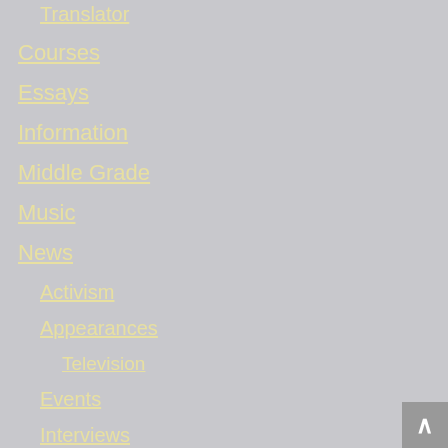Translator
Courses
Essays
Information
Middle Grade
Music
News
Activism
Appearances
Television
Events
Interviews
Project Update
Publication
Poetry